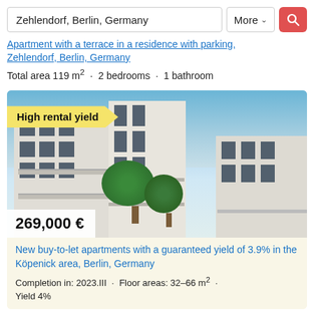Zehlendorf, Berlin, Germany
Apartment with a terrace in a residence with parking, Zehlendorf, Berlin, Germany
Total area 119 m² · 2 bedrooms · 1 bathroom
[Figure (photo): Exterior photo of modern white residential apartment buildings with balconies and trees, with a 'High rental yield' badge and price label '269,000 €']
New buy-to-let apartments with a guaranteed yield of 3.9% in the Köpenick area, Berlin, Germany
Completion in: 2023.III · Floor areas: 32–66 m² · Yield 4%